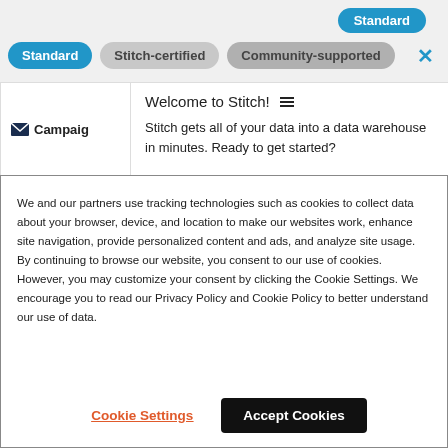[Figure (screenshot): Top bar showing a blue 'Standard' pill button partially visible at top right]
[Figure (screenshot): Row of filter pills: blue 'Standard', gray 'Stitch-certified', gray 'Community-supported', and a blue X close button]
[Figure (screenshot): Card area with CampaignMonitor logo on the left and a welcome tooltip on the right showing 'Welcome to Stitch!' with hamburger icon and body text about getting data into a data warehouse]
We and our partners use tracking technologies such as cookies to collect data about your browser, device, and location to make our websites work, enhance site navigation, provide personalized content and ads, and analyze site usage. By continuing to browse our website, you consent to our use of cookies. However, you may customize your consent by clicking the Cookie Settings. We encourage you to read our Privacy Policy and Cookie Policy to better understand our use of data.
Cookie Settings
Accept Cookies